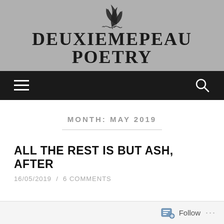[Figure (logo): Two crossed feather quill pens with decorative flourishes, forming the logo of Deuxiemepeau Poetry]
DEUXIEMEPEAU POETRY
[Figure (screenshot): Dark navigation bar with hamburger menu icon on the left and search (magnifying glass) icon on the right]
MONTH: MAY 2019
ALL THE REST IS BUT ASH, AFTER
16/05/2019 / 6 COMMENTS
Follow